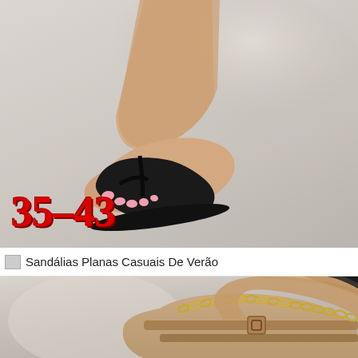[Figure (photo): Close-up photo of a foot wearing a black flat sandal/slip-on shoe on a grey background, with size range label '35-43' overlaid in bold red text at the bottom left]
Sandálias Planas Casuais De Verão
[Figure (photo): Close-up photo of a foot wearing a beige/nude flat sandal with gold chain strap detail on a grey background]